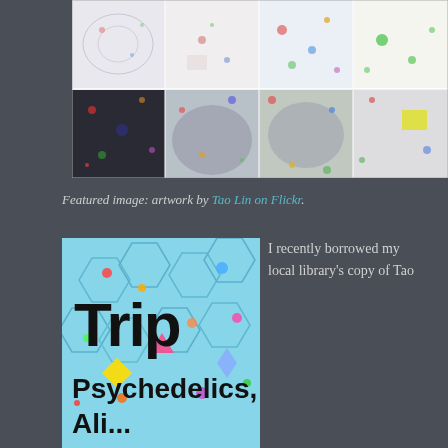[Figure (photo): Grid of colorful psychedelic artwork panels arranged in 2 rows and 4 columns, featuring dense dot patterns and surreal imagery in muted and vivid colors]
Featured image: artwork by Tao Lin on Flickr.
[Figure (photo): Book cover for 'Trip: Psychedelics, Alienation...' featuring colorful psychedelic pattern with bold black text]
I recently borrowed my local library's copy of Tao